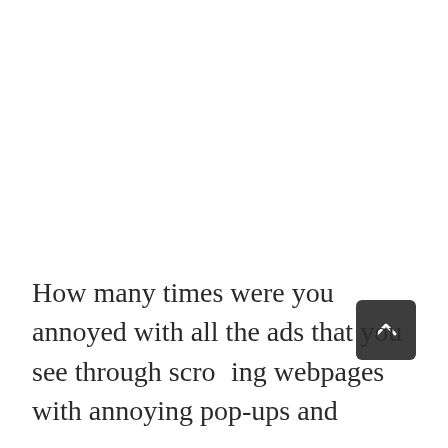How many times were you annoyed with all the ads that you see through scrolling webpages with annoying pop-ups and